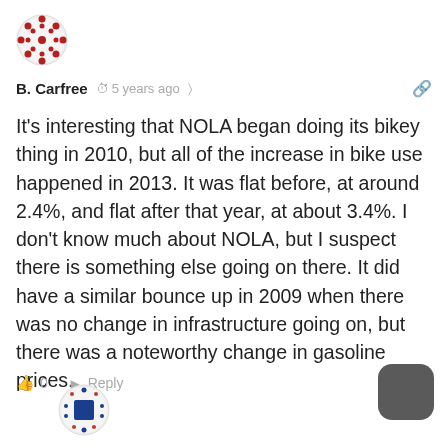[Figure (logo): Red decorative circular avatar/logo with geometric pattern for user B. Carfree]
B. Carfree  🕐 5 years ago  🔗
It's interesting that NOLA began doing its bikey thing in 2010, but all of the increase in bike use happened in 2013. It was flat before, at around 2.4%, and flat after that year, at about 3.4%. I don't know much about NOLA, but I suspect there is something else going on there. It did have a similar bounce up in 2009 when there was no change in infrastructure going on, but there was a noteworthy change in gasoline prices.
👍 0   ➤ Reply   ∧
[Figure (logo): Blue square EU-style decorative avatar for next commenter]